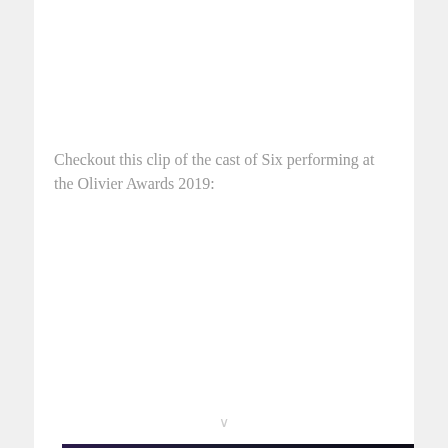Checkout this clip of the cast of Six performing at the Olivier Awards 2019:
[Figure (screenshot): Embedded video player showing 'West Coast Avengers Coming to the M...' with 'No compatible source was found for this media.' error message. Background shows Marvel Studios Young Avengers imagery. Official London Theatre .com logo visible in top left corner.]